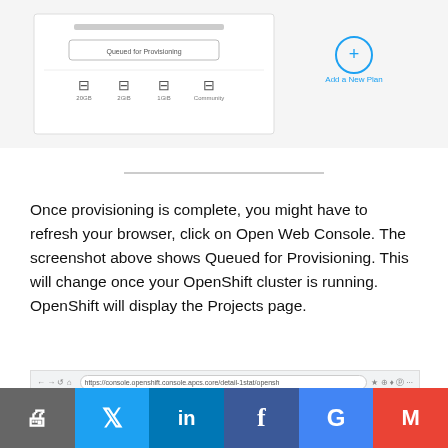[Figure (screenshot): Screenshot of OpenShift plan selection UI showing 'Queued for Provisioning' button and storage options (20GB, 2GiB, 1GiB, Community) with an 'Add a New Plan' option featuring a blue plus icon]
Once provisioning is complete, you might have to refresh your browser, click on Open Web Console. The screenshot above shows Queued for Provisioning. This will change once your OpenShift cluster is running. OpenShift will display the Projects page.
[Figure (screenshot): Screenshot of Red Hat OpenShift Online web console showing browser address bar with URL https://console.openshift.console.apcs.core/detail-1stat/opensh, Red Hat OpenShift Online header bar with hamburger menu and John Hanley user, navigation showing Home dropdown and Projects page]